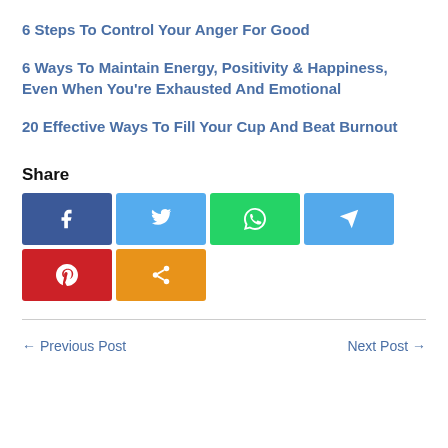6 Steps To Control Your Anger For Good
6 Ways To Maintain Energy, Positivity & Happiness, Even When You're Exhausted And Emotional
20 Effective Ways To Fill Your Cup And Beat Burnout
Share
[Figure (infographic): Social share buttons: Facebook (dark blue, f icon), Twitter (light blue, bird icon), WhatsApp (green, phone icon), Telegram (light blue, paper plane icon), Pinterest (red, P icon), Share (orange, share icon)]
← Previous Post    Next Post →